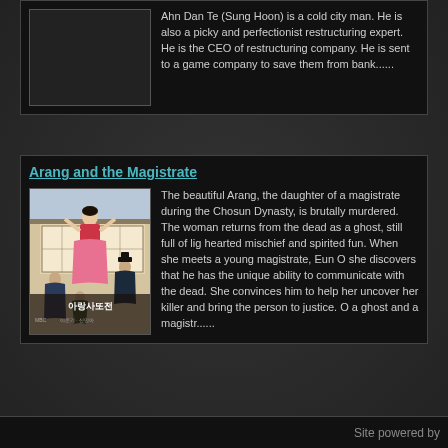Ahn Dan Te (Sung Hoon) is a cold city man. He is also a picky and perfectionist restructuring expert. He is the CEO of restructuring company. He is sent to a game company to save them from bank......
Arang and the Magistrate
[Figure (photo): Poster for Korean drama 'Arang and the Magistrate' (아랑사또전) showing characters in traditional Chosun Dynasty costumes]
The beautiful Arang, the daughter of a magistrate during the Chosun Dynasty, is brutally murdered. The woman returns from the dead as a ghost, still full of light-hearted mischief and spirited fun. When she meets a young magistrate, Eun Oh, she discovers that he has the unique ability to communicate with the dead. She convinces him to help her uncover her killer and bring the person to justice. O a ghost and a magistr......
Site powered by